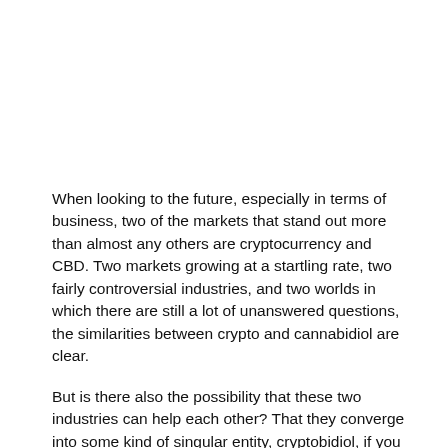When looking to the future, especially in terms of business, two of the markets that stand out more than almost any others are cryptocurrency and CBD. Two markets growing at a startling rate, two fairly controversial industries, and two worlds in which there are still a lot of unanswered questions, the similarities between crypto and cannabidiol are clear.
But is there also the possibility that these two industries can help each other? That they converge into some kind of singular entity, cryptobidiol, if you will (don't though, we shouldn't have, we genuinely regret inventing that word already, "why wouldn't you delete it then?" you may ask, a